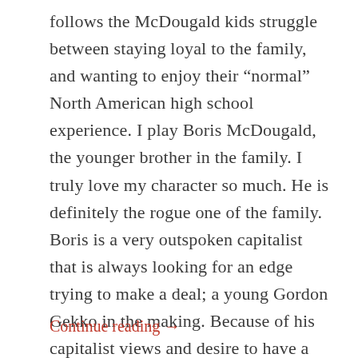follows the McDougald kids struggle between staying loyal to the family, and wanting to enjoy their “normal” North American high school experience. I play Boris McDougald, the younger brother in the family. I truly love my character so much. He is definitely the rogue one of the family. Boris is a very outspoken capitalist that is always looking for an edge trying to make a deal; a young Gordon Gekko in the making. Because of his capitalist views and desire to have a “normal” high school experience, Boris finds his family’s communist beliefs to be a great challenge. This causes lots of comedic moments throughout the season.
Continue reading →